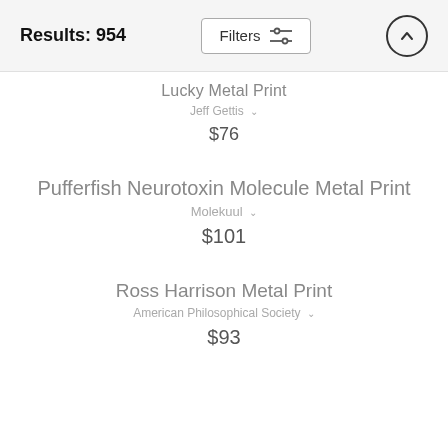Results: 954  Filters  ↑
Lucky Metal Print
Jeff Gettis
$76
Pufferfish Neurotoxin Molecule Metal Print
Molekuul
$101
Ross Harrison Metal Print
American Philosophical Society
$93